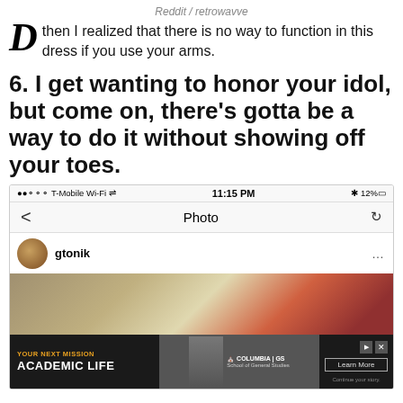Reddit / retrowavve
then I realized that there is no way to function in this dress if you use your arms.
6. I get wanting to honor your idol, but come on, there's gotta be a way to do it without showing off your toes.
[Figure (screenshot): Mobile phone screenshot showing Instagram app with status bar (T-Mobile Wi-Fi, 11:15 PM, 12% battery), navigation bar with back arrow and Photo title, user post by gtonik, and partial photo of feet/shoes, overlaid with Columbia GS advertisement banner at the bottom.]